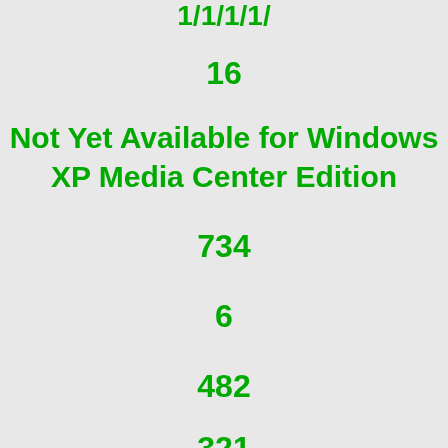16
Not Yet Available for Windows XP Media Center Edition
734
6
482
321